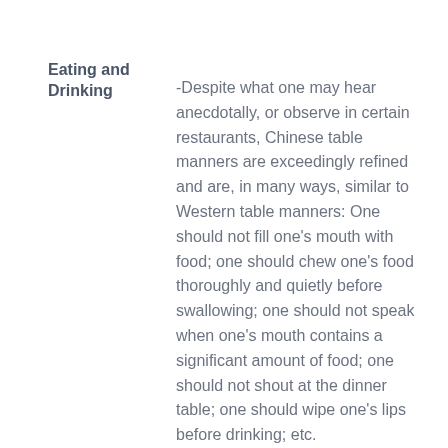Eating and Drinking -Despite what one may hear anecdotally, or observe in certain restaurants, Chinese table manners are exceedingly refined and are, in many ways, similar to Western table manners: One should not fill one's mouth with food; one should chew one's food thoroughly and quietly before swallowing; one should not speak when one's mouth contains a significant amount of food; one should not shout at the dinner table; one should wipe one's lips before drinking; etc.